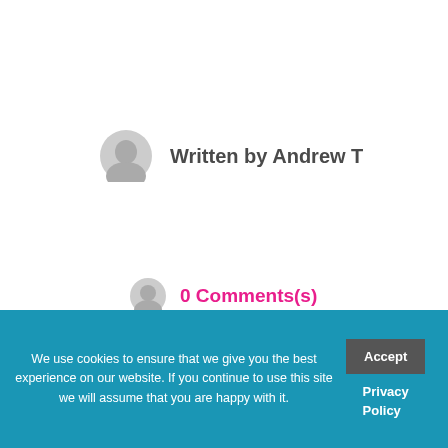Written by Andrew T
Safety
0 Comments(s)
February 28, 2020
We use cookies to ensure that we give you the best experience on our website. If you continue to use this site we will assume that you are happy with it.
Accept
Privacy Policy